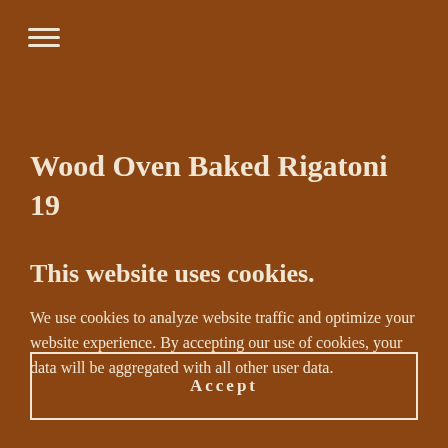[Figure (other): Hamburger menu icon with three horizontal lines]
Wood Oven Baked Rigatoni
19
This website uses cookies.
We use cookies to analyze website traffic and optimize your website experience. By accepting our use of cookies, your data will be aggregated with all other user data.
Accept